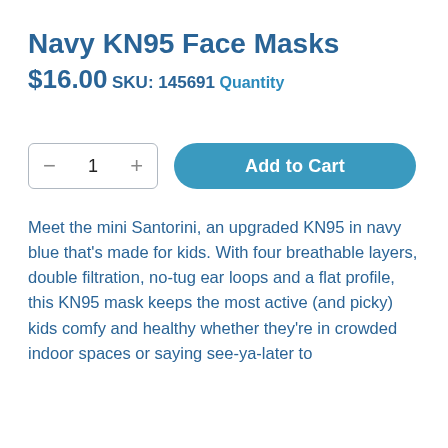Navy KN95 Face Masks
$16.00
SKU: 145691
Quantity
1  Add to Cart
Meet the mini Santorini, an upgraded KN95 in navy blue that's made for kids. With four breathable layers, double filtration, no-tug ear loops and a flat profile, this KN95 mask keeps the most active (and picky) kids comfy and healthy whether they're in crowded indoor spaces or saying see-ya-later to